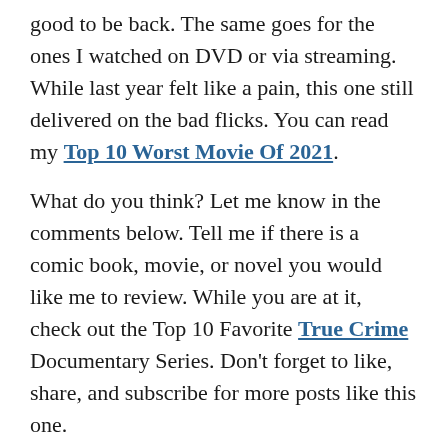good to be back. The same goes for the ones I watched on DVD or via streaming. While last year felt like a pain, this one still delivered on the bad flicks. You can read my Top 10 Worst Movie Of 2021.
What do you think? Let me know in the comments below. Tell me if there is a comic book, movie, or novel you would like me to review. While you are at it, check out the Top 10 Favorite True Crime Documentary Series. Don't forget to like, share, and subscribe for more posts like this one.